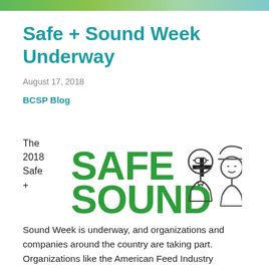Safe + Sound Week Underway
August 17, 2018
BCSP Blog
[Figure (logo): Safe + Sound Week logo with green bold text 'SAFE + SOUND' and outline illustration of two workers (one with goggles, one with hard hat)]
The 2018 Safe + Sound Week is underway, and organizations and companies around the country are taking part. Organizations like the American Feed Industry Association, International Dairy Foods Association, the